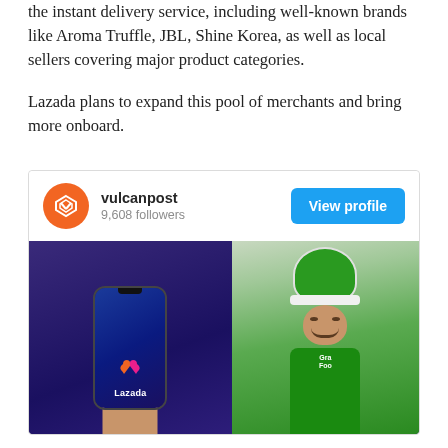the instant delivery service, including well-known brands like Aroma Truffle, JBL, Shine Korea, as well as local sellers covering major product categories.
Lazada plans to expand this pool of merchants and bring more onboard.
[Figure (screenshot): Instagram-style card for vulcanpost account with 9,608 followers and a blue 'View profile' button, followed by a composite photo showing a hand holding a smartphone displaying the Lazada app logo on the left, and a Grab Food delivery rider wearing a green helmet and jacket on the right.]